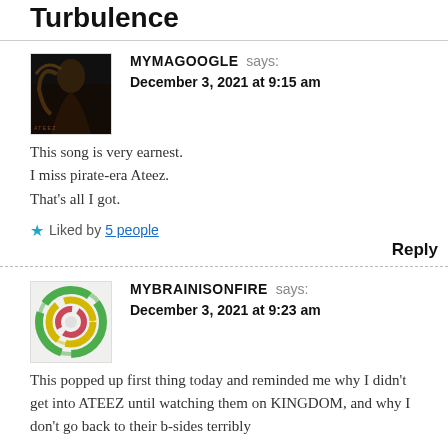Turbulence
MYMAGOOGLE says:
December 3, 2021 at 9:15 am

This song is very earnest.
I miss pirate-era Ateez.
That’s all I got.
Liked by 5 people
Reply
MYBRAINISONFIRE says:
December 3, 2021 at 9:23 am

This popped up first thing today and reminded me why I didn’t get into ATEEZ until watching them on KINGDOM, and why I don’t go back to their b-sides terribly